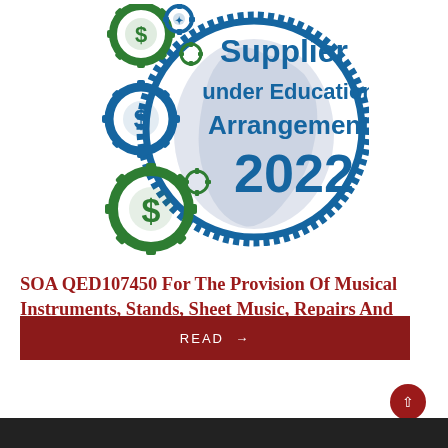[Figure (logo): Supplier under Education Arrangement 2022 badge/seal with blue circular border, gear icons in green and blue, dollar sign symbols, and Queensland state map silhouette in light blue/purple]
SOA QED107450 For The Provision Of Musical Instruments, Stands, Sheet Music, Repairs And Servicing
READ →